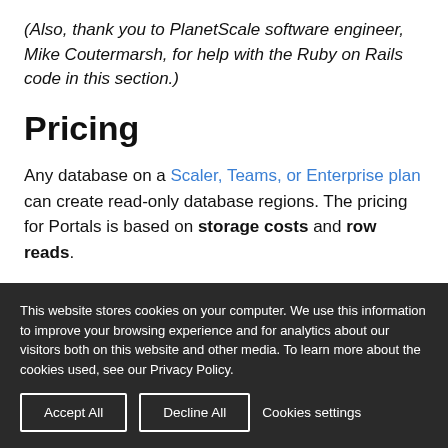(Also, thank you to PlanetScale software engineer, Mike Coutermarsh, for help with the Ruby on Rails code in this section.)
Pricing
Any database on a Scaler, Teams, or Enterprise plan can create read-only database regions. The pricing for Portals is based on storage costs and row reads.
This website stores cookies on your computer. We use this information to improve your browsing experience and for analytics about our visitors both on this website and other media. To learn more about the cookies used, see our Privacy Policy.
Accept All | Decline All | Cookies settings